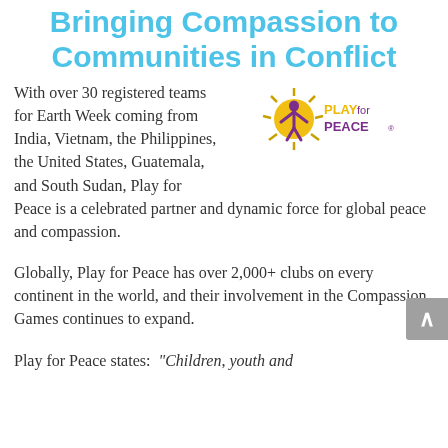Bringing Compassion to Communities in Conflict
[Figure (logo): Play for Peace logo — a stylized sun/person figure in purple/gold with text 'PLAY for PEACE' in gold and purple]
With over 30 registered teams for Earth Week coming from India, Vietnam, the Philippines, the United States, Guatemala, and South Sudan, Play for Peace is a celebrated partner and dynamic force for global peace and compassion.
Globally, Play for Peace has over 2,000+ clubs on every continent in the world, and their involvement in the Compassion Games continues to expand.
Play for Peace states: “Children, youth and